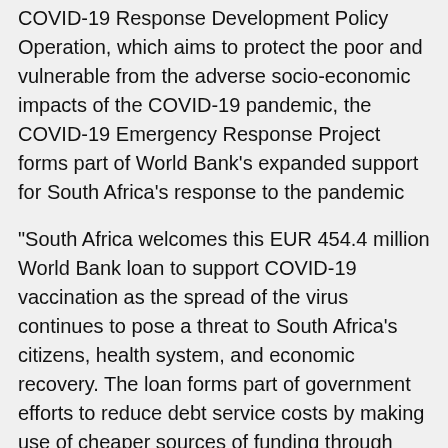COVID-19 Response Development Policy Operation, which aims to protect the poor and vulnerable from the adverse socio-economic impacts of the COVID-19 pandemic, the COVID-19 Emergency Response Project forms part of World Bank's expanded support for South Africa's response to the pandemic
“South Africa welcomes this EUR 454.4 million World Bank loan to support COVID-19 vaccination as the spread of the virus continues to pose a threat to South Africa’s citizens, health system, and economic recovery. The loan forms part of government efforts to reduce debt service costs by making use of cheaper sources of funding through multilateral development banks, whilst supporting the health system to respond to COVID-19 through the roll-out of vaccines, critical research, and treatment measures,” says Ismail Momoniat, National Treasury Acting Director-General, South Africa.